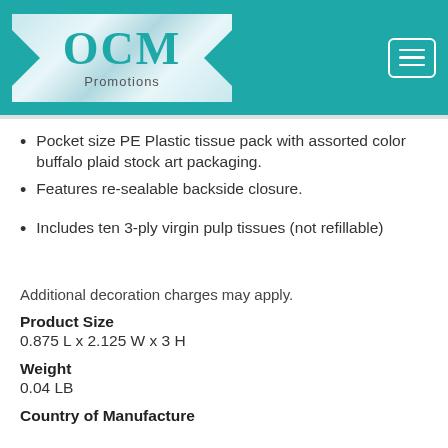[Figure (logo): OCM Promotions logo on teal/silver background with menu button]
Pocket size PE Plastic tissue pack with assorted color buffalo plaid stock art packaging.
Features re-sealable backside closure.
Includes ten 3-ply virgin pulp tissues (not refillable)
Additional decoration charges may apply.
Product Size
0.875 L x 2.125 W x 3 H
Weight
0.04 LB
Country of Manufacture